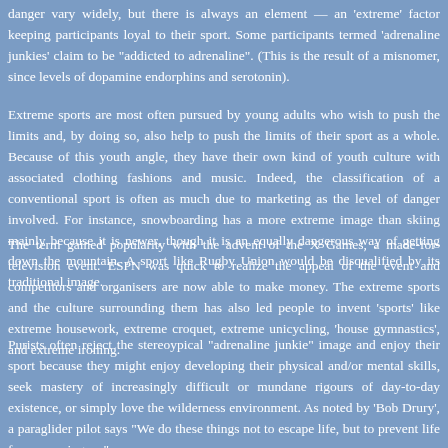danger vary widely, but there is always an element — an 'extreme' factor keeping participants loyal to their sport. Some participants termed 'adrenaline junkies' claim to be "addicted to adrenaline". (This is the result of a misnomer, since levels of dopamine endorphins and serotonin).
Extreme sports are most often pursued by young adults who wish to push their limits and, by doing so, also help to push the limits of their sport as a whole. Because of this youth angle, they have their own kind of youth culture with associated clothing fashions and music. Indeed, the classification of a conventional sport is often as much due to marketing as the level of danger involved. For instance, snowboarding has a more extreme image than skiing mainly because it is newer, though it is an equally dangerous way of getting down the mountain. A sport like Rugby Union would be disqualified by its traditional image.
The term gained popularity with the advent of the X Games, a made-for-television event. ESPN was quick to realize the appeal of the event and competitors and organisers are now able to make money. The extreme sports and the culture surrounding them has also led people to invent 'sports' like extreme housework, extreme croquet, extreme unicycling, 'house gymnastics', and extreme ironing.
Purists often reject the stereoypical "adrenaline junkie" image and enjoy their sport because they might enjoy developing their physical and/or mental skills, seek mastery of increasingly difficult or mundane rigours of day-to-day existence, or simply love the wilderness environment. As noted by 'Bob Drury', a paraglider pilot says "We do these things not to escape life, but to prevent life from escaping us." (anonymous quote), "All who live, die. But not all who die have lived."
Several extreme sports, including snowboarding, were included in the 2002 Win
Some extreme sports have been around for many decades and the proponents sp personalities. For example rock climbing and ice climbing has spawned s Bonington and more recently Joe Simpson. Another example of f